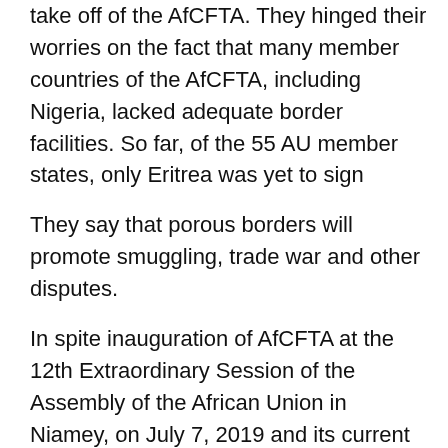take off of the AfCFTA. They hinged their worries on the fact that many member countries of the AfCFTA, including Nigeria, lacked adequate border facilities. So far, of the 55 AU member states, only Eritrea was yet to sign
They say that porous borders will promote smuggling, trade war and other disputes.
In spite inauguration of AfCFTA at the 12th Extraordinary Session of the Assembly of the African Union in Niamey, on July 7, 2019 and its current operational phase, those who spoke doubted reality of such goals, while others commended it, considering the operational instruments
The AfCFTA operational instruments are: Rules of Origin; The Online Negotiating Forum; The Monitoring and Elimination of Non-tariff barriers; Digital